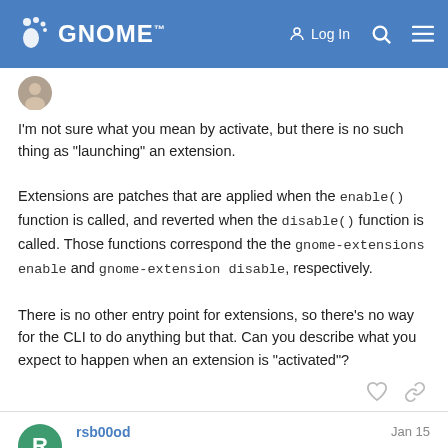GNOME — Log In
I'm not sure what you mean by activate, but there is no such thing as "launching" an extension.

Extensions are patches that are applied when the enable() function is called, and reverted when the disable() function is called. Those functions correspond the the gnome-extensions enable and gnome-extension disable, respectively.

There is no other entry point for extensions, so there's no way for the CLI to do anything but that. Can you describe what you expect to happen when an extension is "activated"?
rsb00od — Jan 15
Thank You for replying.